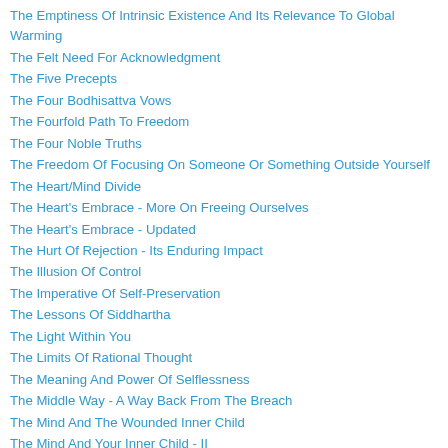The Emptiness Of Intrinsic Existence And Its Relevance To Global Warming
The Felt Need For Acknowledgment
The Five Precepts
The Four Bodhisattva Vows
The Fourfold Path To Freedom
The Four Noble Truths
The Freedom Of Focusing On Someone Or Something Outside Yourself
The Heart/Mind Divide
The Heart's Embrace - More On Freeing Ourselves
The Heart's Embrace - Updated
The Hurt Of Rejection - Its Enduring Impact
The Illusion Of Control
The Imperative Of Self-Preservation
The Lessons Of Siddhartha
The Light Within You
The Limits Of Rational Thought
The Meaning And Power Of Selflessness
The Middle Way - A Way Back From The Breach
The Mind And The Wounded Inner Child
The Mind And Your Inner Child - II